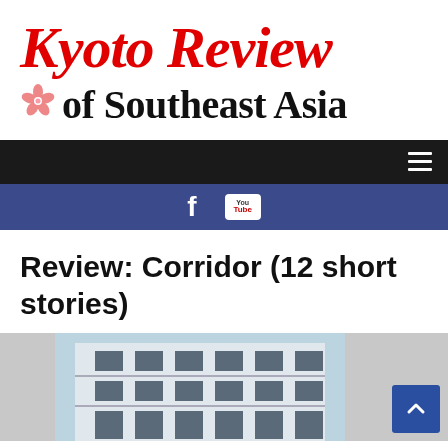[Figure (logo): Kyoto Review of Southeast Asia logo with red italic serif text 'Kyoto Review' and black bold 'of Southeast Asia' with a pink cherry blossom icon]
Navigation bar with hamburger menu icon
Social bar with Facebook and YouTube icons
Review: Corridor (12 short stories)
[Figure (photo): Partial photo of a building corridor with light blue and gray tones, showing a multi-story residential building facade]